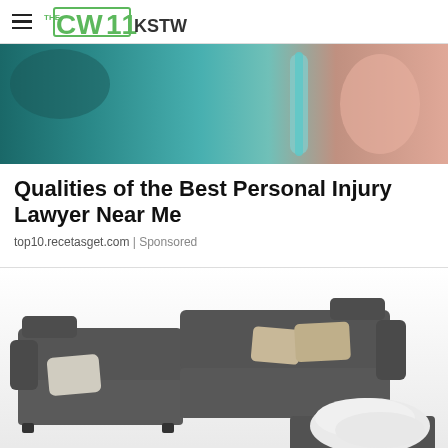THE CW11 KSTW
[Figure (photo): Close-up photo of a person holding a metal crutch or walking aid, with colorful background]
Qualities of the Best Personal Injury Lawyer Near Me
top10.recetasget.com | Sponsored
[Figure (photo): Photo of a modern dark gray L-shaped sectional sofa with decorative pillows and a white faux fur throw blanket, on a white background]